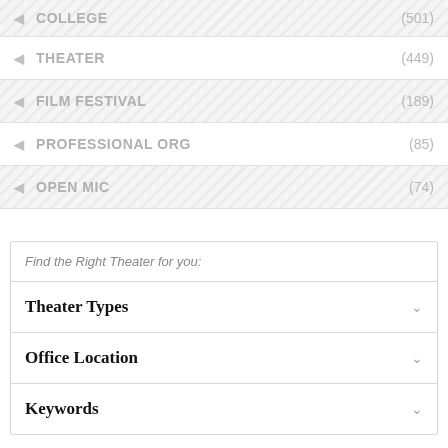COLLEGE (501)
THEATER (449)
FILM FESTIVAL (189)
PROFESSIONAL ORG (85)
OPEN MIC (74)
Find the Right Theater for you:
Theater Types
Office Location
Keywords